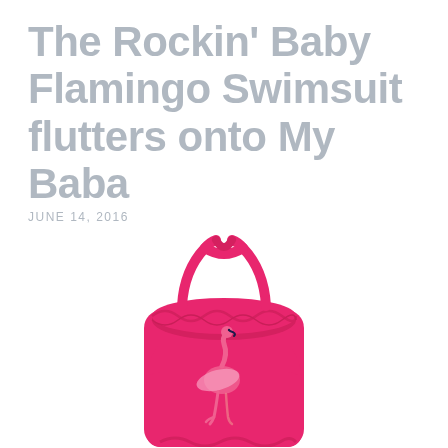The Rockin' Baby Flamingo Swimsuit flutters onto My Baba
JUNE 14, 2016
[Figure (photo): A bright pink/hot pink baby girls one-piece swimsuit with cross-back straps, ruffle chest detail, and a flamingo graphic printed on the front torso.]